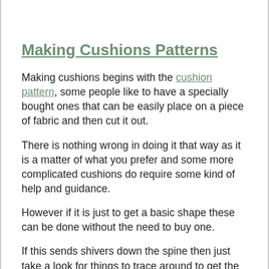Making Cushions Patterns
Making cushions begins with the cushion pattern, some people like to have a specially bought ones that can be easily place on a piece of fabric and then cut it out.
There is nothing wrong in doing it that way as it is a matter of what you prefer and some more complicated cushions do require some kind of help and guidance.
However if it is just to get a basic shape these can be done without the need to buy one.
If this sends shivers down the spine then just take a look for things to trace around to get the shape.
From pin cushions to floor cushions sometimes there will not be one available to buy so you can start at the beginning yourself.
Making your own patterns may take you a little longer